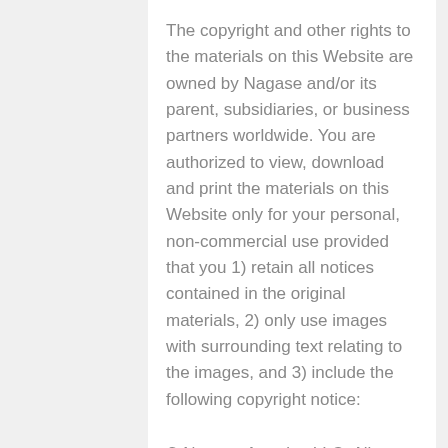The copyright and other rights to the materials on this Website are owned by Nagase and/or its parent, subsidiaries, or business partners worldwide. You are authorized to view, download and print the materials on this Website only for your personal, non-commercial use provided that you 1) retain all notices contained in the original materials, 2) only use images with surrounding text relating to the images, and 3) include the following copyright notice:
© Nagase America LLC. All rights